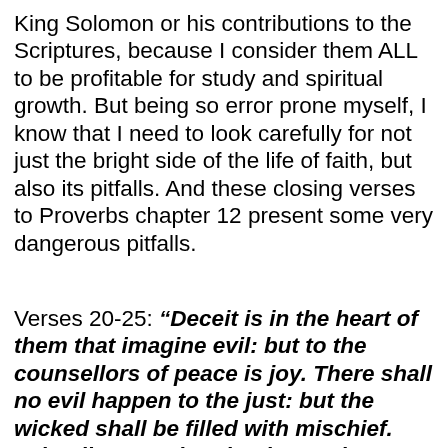King Solomon or his contributions to the Scriptures, because I consider them ALL to be profitable for study and spiritual growth. But being so error prone myself, I know that I need to look carefully for not just the bright side of the life of faith, but also its pitfalls. And these closing verses to Proverbs chapter 12 present some very dangerous pitfalls.
Verses 20-25: “Deceit is in the heart of them that imagine evil: but to the counsellors of peace is joy. There shall no evil happen to the just: but the wicked shall be filled with mischief. Lying lips are abomination to the LORD: but they that deal truly